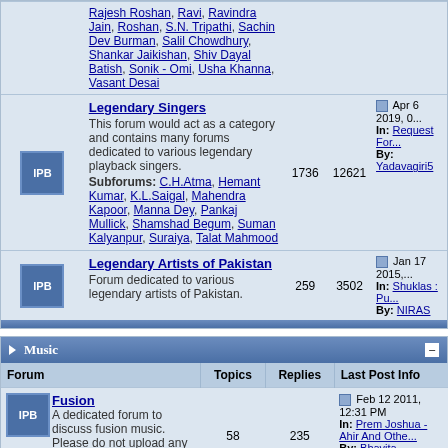| Forum | Topics | Replies | Last Post Info |
| --- | --- | --- | --- |
| Legendary Singers
This forum would act as a category and contains many forums dedicated to various legendary playback singers.
Subforums: C.H.Atma, Hemant Kumar, K.L.Saigal, Mahendra Kapoor, Manna Dey, Pankaj Mullick, Shamshad Begum, Suman Kalyanpur, Suraiya, Talat Mahmood | 1736 | 12621 | Apr 6 2019, ...
In: Request For...
By: Yadavagiri5 |
| Legendary Artists of Pakistan
Forum dedicated to various legendary artists of Pakistan. | 259 | 3502 | Jan 17 2015, ...
In: Shuklas : Pu...
By: NIRAS |
Music
| Forum | Topics | Replies | Last Post Info |
| --- | --- | --- | --- |
| Fusion
A dedicated forum to discuss fusion music. Please do not upload any fusion music attachments in this forum. | 58 | 235 | Feb 12 2011, 12:31 PM
In: Prem Joshua - Ahir And Othe...
By: Bhavita |